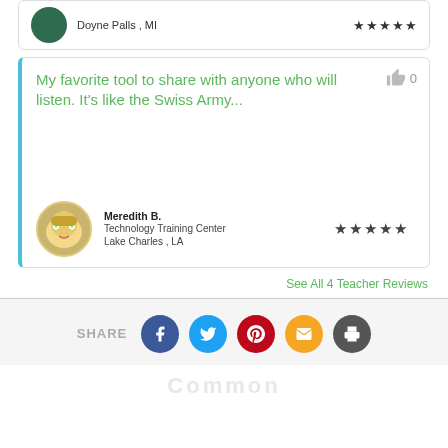Doyne Palls , MI ★★★★★
My favorite tool to share with anyone who will listen. It's like the Swiss Army...
Meredith B.
Technology Training Center
Lake Charles , LA ★★★★★
See All 4 Teacher Reviews
SHARE